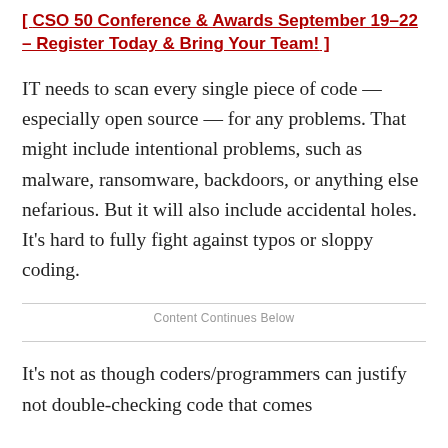[ CSO 50 Conference & Awards September 19–22 – Register Today & Bring Your Team! ]
IT needs to scan every single piece of code — especially open source — for any problems. That might include intentional problems, such as malware, ransomware, backdoors, or anything else nefarious. But it will also include accidental holes. It's hard to fully fight against typos or sloppy coding.
Content Continues Below
It's not as though coders/programmers can justify not double-checking code that comes